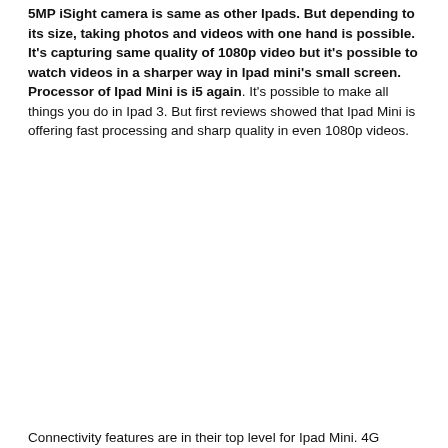5MP iSight camera is same as other Ipads. But depending to its size, taking photos and videos with one hand is possible. It's capturing same quality of 1080p video but it's possible to watch videos in a sharper way in Ipad mini's small screen. Processor of Ipad Mini is i5 again. It's possible to make all things you do in Ipad 3. But first reviews showed that Ipad Mini is offering fast processing and sharp quality in even 1080p videos.
Connectivity features are in their top level for Ipad Mini. 4G networks bring fast forward than other 5Ghz WiFi...